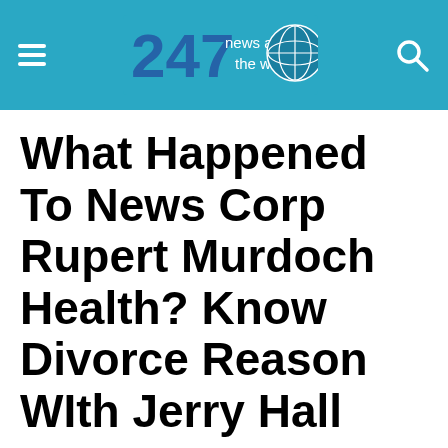247 news around the world
What Happened To News Corp Rupert Murdoch Health? Know Divorce Reason WIth Jerry Hall